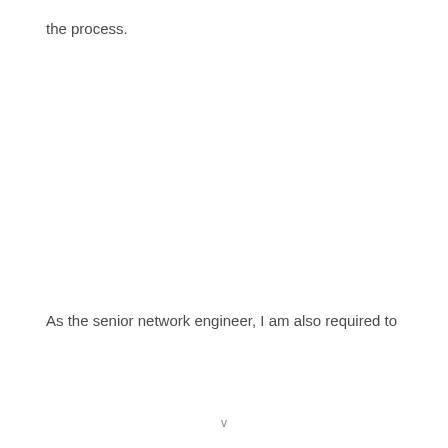the process.
As the senior network engineer, I am also required to
v